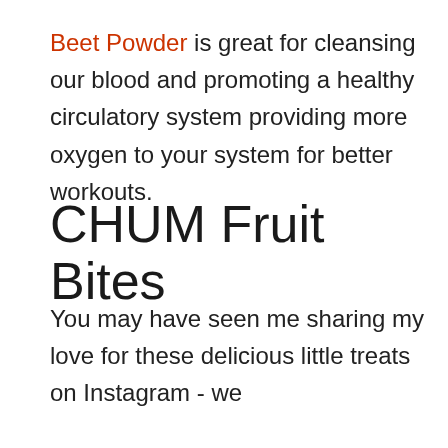Beet Powder is great for cleansing our blood and promoting a healthy circulatory system providing more oxygen to your system for better workouts.
CHUM Fruit Bites
You may have seen me sharing my love for these delicious little treats on Instagram - we